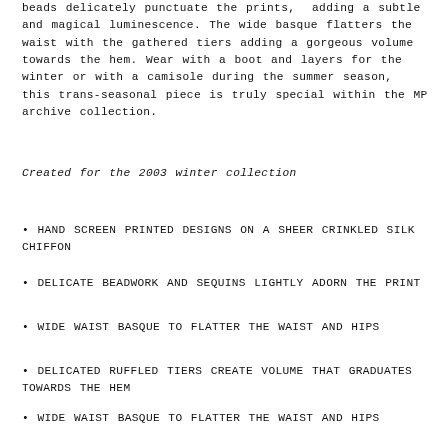beads delicately punctuate the prints,  adding a subtle and magical luminescence. The wide basque flatters the waist with the gathered tiers adding a gorgeous volume towards the hem. Wear with a boot and layers for the winter or with a camisole during the summer season,  this trans-seasonal piece is truly special within the MP archive collection.
Created for the 2003 winter collection
HAND SCREEN PRINTED DESIGNS ON A SHEER CRINKLED SILK CHIFFON
DELICATE BEADWORK AND SEQUINS LIGHTLY ADORN THE PRINT
WIDE WAIST BASQUE TO FLATTER THE WAIST AND HIPS
DELICATED RUFFLED TIERS CREATE VOLUME THAT GRADUATES TOWARDS THE HEM
WIDE WAIST BASQUE TO FLATTER THE WAIST AND HIPS